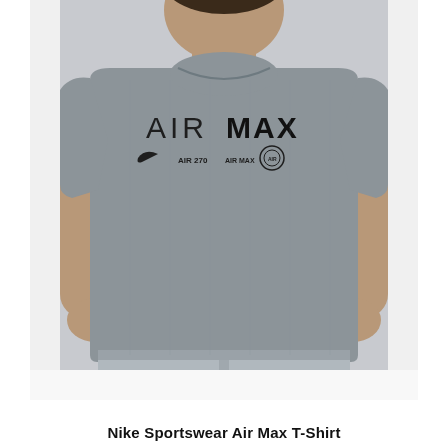[Figure (photo): A person wearing a gray Nike Sportswear Air Max T-Shirt with 'AIR MAX' text and multiple Nike logos printed on the chest, paired with light gray cargo shorts. The background is light gray.]
Nike Sportswear Air Max T-Shirt